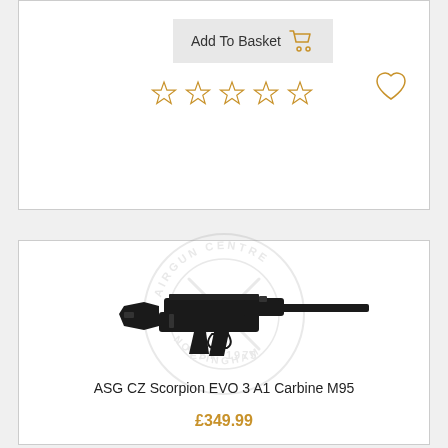[Figure (screenshot): Add To Basket button with shopping cart icon and five empty star rating icons, plus a heart/wishlist icon]
[Figure (photo): ASG CZ Scorpion EVO 3 A1 Carbine M95 airsoft gun product image with Airgun Centre Nottingham Est. 1975 watermark]
ASG CZ Scorpion EVO 3 A1 Carbine M95
£349.99